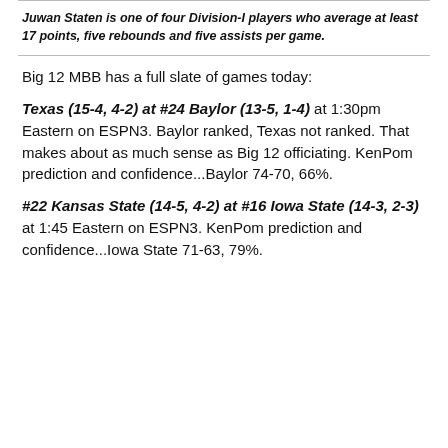Juwan Staten is one of four Division-I players who average at least 17 points, five rebounds and five assists per game.
Big 12 MBB has a full slate of games today:
Texas (15-4, 4-2) at #24 Baylor (13-5, 1-4) at 1:30pm Eastern on ESPN3. Baylor ranked, Texas not ranked. That makes about as much sense as Big 12 officiating. KenPom prediction and confidence...Baylor 74-70, 66%.
#22 Kansas State (14-5, 4-2) at #16 Iowa State (14-3, 2-3) at 1:45 Eastern on ESPN3. KenPom prediction and confidence...Iowa State 71-63, 79%.